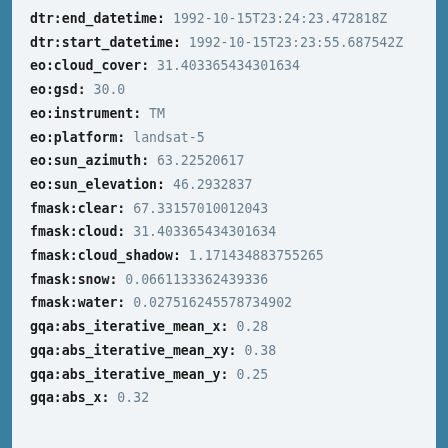dtr:end_datetime: 1992-10-15T23:24:23.472818Z
dtr:start_datetime: 1992-10-15T23:23:55.687542Z
eo:cloud_cover: 31.403365434301634
eo:gsd: 30.0
eo:instrument: TM
eo:platform: landsat-5
eo:sun_azimuth: 63.22520617
eo:sun_elevation: 46.2932837
fmask:clear: 67.33157010012043
fmask:cloud: 31.403365434301634
fmask:cloud_shadow: 1.171434883755265
fmask:snow: 0.0661133362439336
fmask:water: 0.027516245578734902
gqa:abs_iterative_mean_x: 0.28
gqa:abs_iterative_mean_xy: 0.38
gqa:abs_iterative_mean_y: 0.25
gqa:abs_x: 0.32